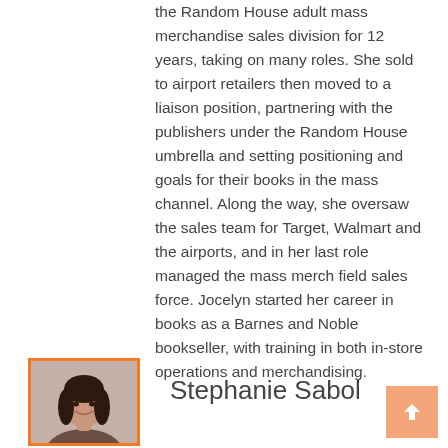the Random House adult mass merchandise sales division for 12 years, taking on many roles. She sold to airport retailers then moved to a liaison position, partnering with the publishers under the Random House umbrella and setting positioning and goals for their books in the mass channel. Along the way, she oversaw the sales team for Target, Walmart and the airports, and in her last role managed the mass merch field sales force. Jocelyn started her career in books as a Barnes and Noble bookseller, with training in both in-store operations and merchandising.
[Figure (photo): Headshot photo of Stephanie Sabol, a woman with dark hair, smiling, framed with an orange border]
Stephanie Sabol